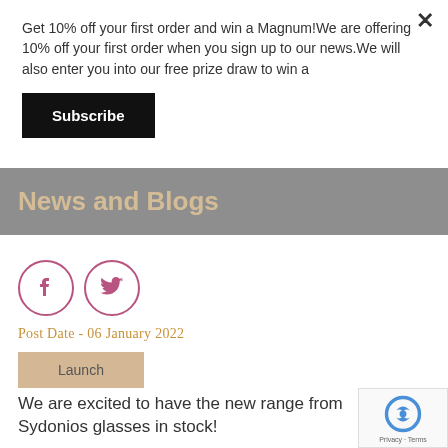Get 10% off your first order and win a Magnum!We are offering 10% off your first order when you sign up to our news.We will also enter you into our free prize draw to win a
Subscribe
News and Blogs
[Figure (other): Facebook and Twitter social media icon circles outlined in pink/red]
Post Date - 06 January 2022
Launch
We are excited to have the new range from Sydonios glasses in stock!